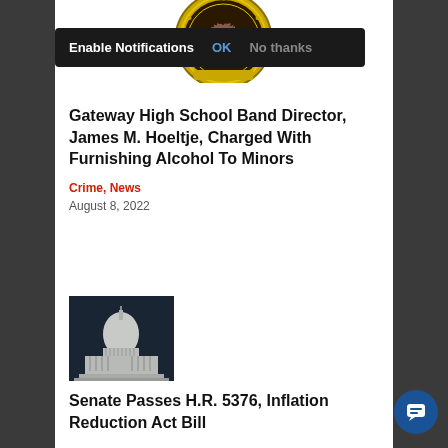[Figure (screenshot): Enable Notifications dialog bar with OK and No thanks options on dark background]
[Figure (logo): Gateway High School gold badge/seal with lion emblem]
Gateway High School Band Director, James M. Hoeltje, Charged With Furnishing Alcohol To Minors
Crime, News
August 8, 2022
[Figure (photo): Black and white photo of the US Capitol building]
Senate Passes H.R. 5376, Inflation Reduction Act Bill